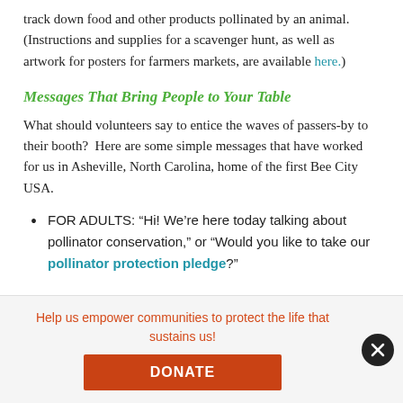track down food and other products pollinated by an animal. (Instructions and supplies for a scavenger hunt, as well as artwork for posters for farmers markets, are available here.)
Messages That Bring People to Your Table
What should volunteers say to entice the waves of passers-by to their booth?  Here are some simple messages that have worked for us in Asheville, North Carolina, home of the first Bee City USA.
FOR ADULTS: “Hi! We’re here today talking about pollinator conservation,” or “Would you like to take our pollinator protection pledge?”
Help us empower communities to protect the life that sustains us!
DONATE